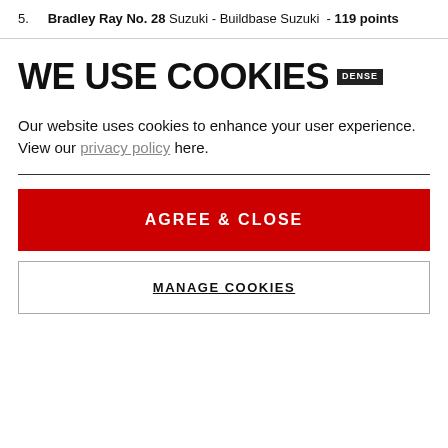5.   Bradley Ray No. 28 Suzuki - Buildbase Suzuki - 119 points
WE USE COOKIES
Our website uses cookies to enhance your user experience. View our privacy policy here.
AGREE & CLOSE
MANAGE COOKIES